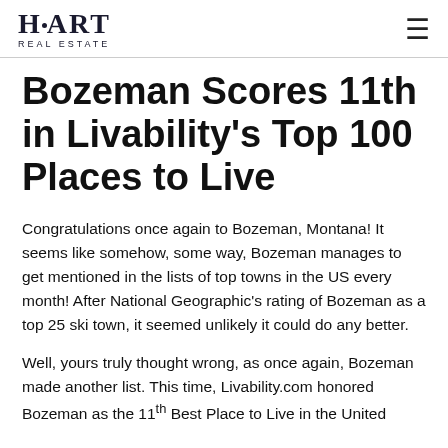HART REAL ESTATE
Bozeman Scores 11th in Livability's Top 100 Places to Live
Congratulations once again to Bozeman, Montana! It seems like somehow, some way, Bozeman manages to get mentioned in the lists of top towns in the US every month! After National Geographic's rating of Bozeman as a top 25 ski town, it seemed unlikely it could do any better.
Well, yours truly thought wrong, as once again, Bozeman made another list. This time, Livability.com honored Bozeman as the 11th Best Place to Live in the United States.